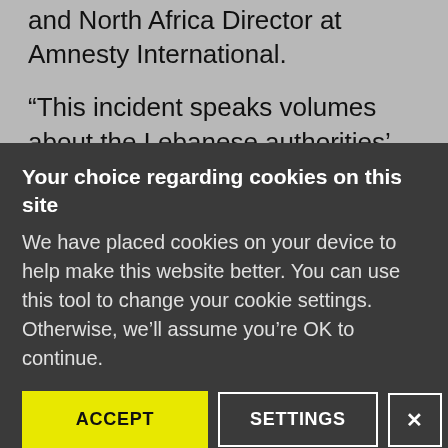and North Africa Director at Amnesty International.
“This incident speaks volumes about the Lebanese authorities’ disdain for justice. These families lost loved ones as a result of the state’s failure to protect their lives, and it is mind-blowing that they are now facing violent attacks simply for daring to demand accountability as they frontline this historic battle for justice.”
Your choice regarding cookies on this site
We have placed cookies on your device to help make this website better. You can use this tool to change your cookie settings. Otherwise, we’ll assume you’re OK to continue.